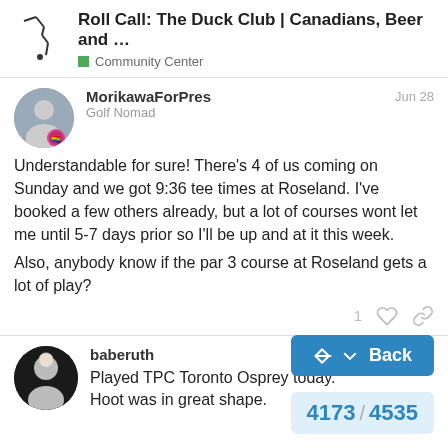Roll Call: The Duck Club | Canadians, Beer and ... — Community Center
MorikawaForPres
Golf Nomad
Jun 28
Understandable for sure! There's 4 of us coming on Sunday and we got 9:36 tee times at Roseland. I've booked a few others already, but a lot of courses wont let me until 5-7 days prior so I'll be up and at it this week.

Also, anybody know if the par 3 course at Roseland gets a lot of play?
baberuth
Jun 28
Played TPC Toronto Osprey today. Hoot was in great shape.